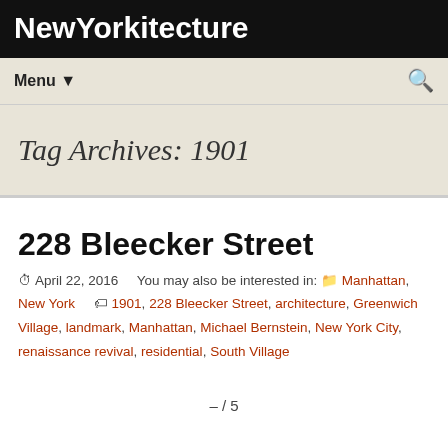NewYorkitecture
Tag Archives: 1901
228 Bleecker Street
April 22, 2016   You may also be interested in: Manhattan, New York   1901, 228 Bleecker Street, architecture, Greenwich Village, landmark, Manhattan, Michael Bernstein, New York City, renaissance revival, residential, South Village
– / 5